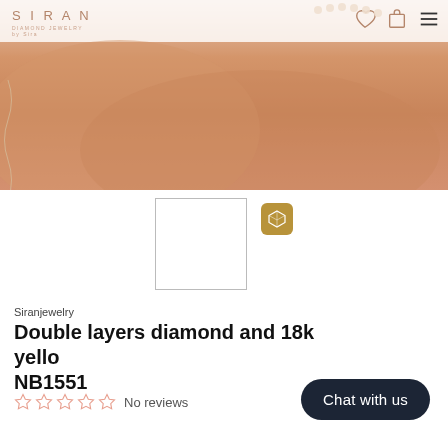[Figure (photo): Hero banner showing a close-up of a hand/wrist wearing a delicate jewelry piece, warm peach/skin tones. Navigation bar at top with SIRAN logo on left and icons on right.]
[Figure (photo): Small thumbnail image box (white/empty) with a golden 3D cube icon next to it for AR/3D view]
Siranjewelry
Double layers diamond and 18k yellow NB1551
No reviews